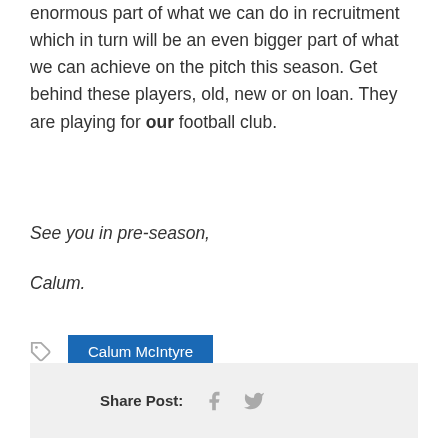enormous part of what we can do in recruitment which in turn will be an even bigger part of what we can achieve on the pitch this season. Get behind these players, old, new or on loan. They are playing for our football club.
See you in pre-season,
Calum.
Calum McIntyre
Share Post: